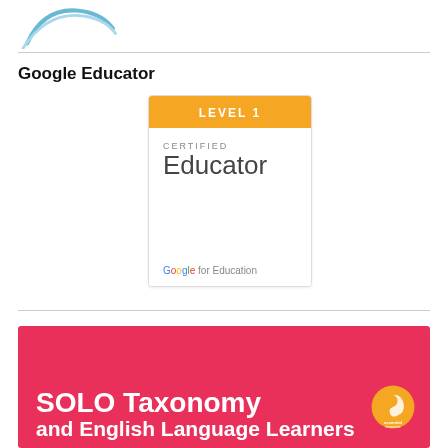[Figure (logo): Partial arc/circle logo at top left, blue curved lines]
Google Educator
[Figure (illustration): Google Certified Educator Level 1 badge. Orange top bar with 'LEVEL 1' text, white body with 'CERTIFIED Educator' text and 'Google for Education' branding at bottom.]
[Figure (illustration): SOLO Taxonomy and English Language Learners banner. Pink/red background with white bold text and Essential Resources logo.]